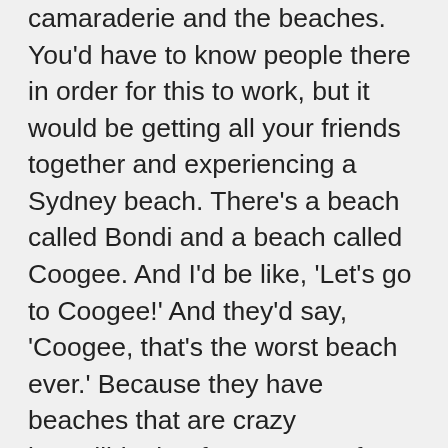camaraderie and the beaches. You'd have to know people there in order for this to work, but it would be getting all your friends together and experiencing a Sydney beach. There's a beach called Bondi and a beach called Coogee. And I'd be like, 'Let's go to Coogee!' And they'd say, 'Coogee, that's the worst beach ever.' Because they have beaches that are crazy incredible, but for someone from America, their lamest beach is the best. Just sitting on the white sand and watching the beautiful waves they get is really something special.
5. Did you know one of the first things that